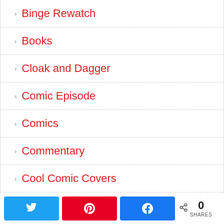Binge Rewatch
Books
Cloak and Dagger
Comic Episode
Comics
Commentary
Cool Comic Covers
Daredevil
0 SHARES